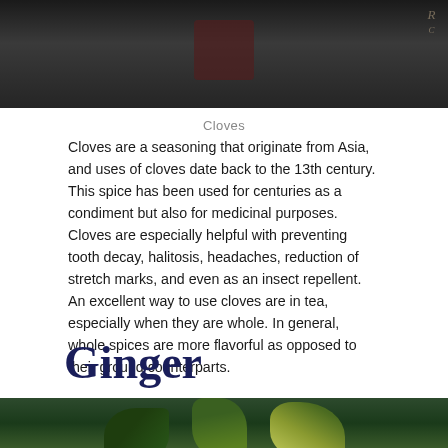[Figure (photo): Top photo showing cloves/spice jars on a dark surface, with a decorative logo watermark in the top right corner]
Cloves
Cloves are a seasoning that originate from Asia, and uses of cloves date back to the 13th century. This spice has been used for centuries as a condiment but also for medicinal purposes. Cloves are especially helpful with preventing tooth decay, halitosis, headaches, reduction of stretch marks, and even as an insect repellent. An excellent way to use cloves are in tea, especially when they are whole. In general, whole spices are more flavorful as opposed to their ground counterparts.
Ginger
[Figure (photo): Bottom photo showing tropical green plants with large variegated leaves against a neutral background]